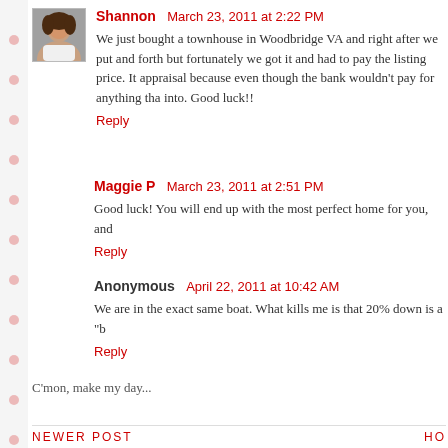Shannon  March 23, 2011 at 2:22 PM
We just bought a townhouse in Woodbridge VA and right after we put and forth but fortunately we got it and had to pay the listing price. It appraisal because even though the bank wouldn't pay for anything that into. Good luck!!
Reply
Maggie P  March 23, 2011 at 2:51 PM
Good luck! You will end up with the most perfect home for you, and
Reply
Anonymous  April 22, 2011 at 10:42 AM
We are in the exact same boat. What kills me is that 20% down is a "b
Reply
C'mon, make my day...
NEWER POST    HO